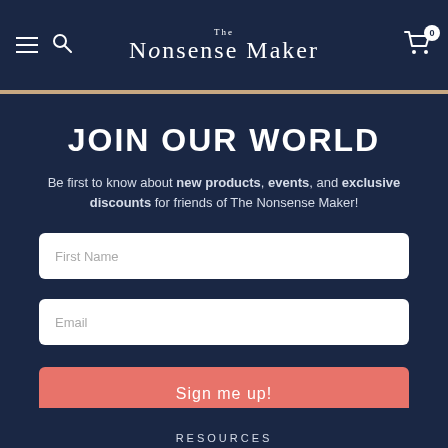The Nonsense Maker — navigation header with hamburger menu, search icon, logo, and cart icon (badge: 0)
JOIN OUR WORLD
Be first to know about new products, events, and exclusive discounts for friends of The Nonsense Maker!
First Name (input field)
Email (input field)
Sign me up!
RESOURCES